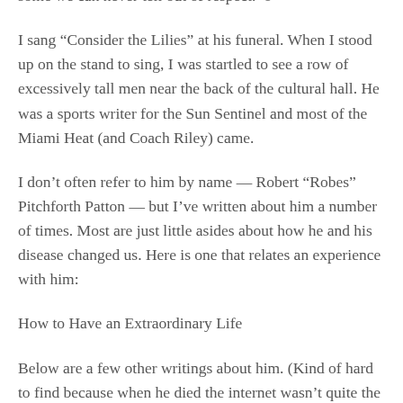some we can never tell out of respect. ☺
I sang “Consider the Lilies” at his funeral. When I stood up on the stand to sing, I was startled to see a row of excessively tall men near the back of the cultural hall. He was a sports writer for the Sun Sentinel and most of the Miami Heat (and Coach Riley) came.
I don’t often refer to him by name — Robert “Robes” Pitchforth Patton — but I’ve written about him a number of times. Most are just little asides about how he and his disease changed us. Here is one that relates an experience with him:
How to Have an Extraordinary Life
Below are a few other writings about him. (Kind of hard to find because when he died the internet wasn’t quite the booming place it